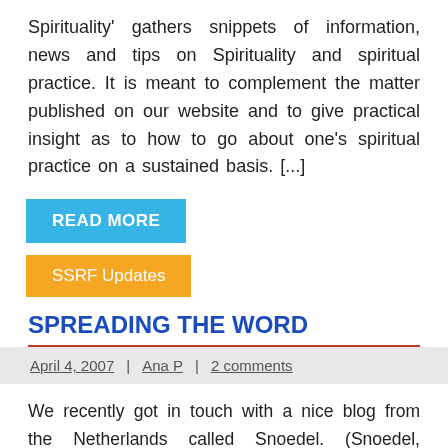Spirituality' gathers snippets of information, news and tips on Spirituality and spiritual practice. It is meant to complement the matter published on our website and to give practical insight as to how to go about one's spiritual practice on a sustained basis. [...]
READ MORE
SSRF Updates
SPREADING THE WORD
April 4, 2007 | Ana P | 2 comments
We recently got in touch with a nice blog from the Netherlands called Snoedel. (Snoedel, pronounced 'Snoodle', we learnt, is a Dutch word meaning snuggle.)